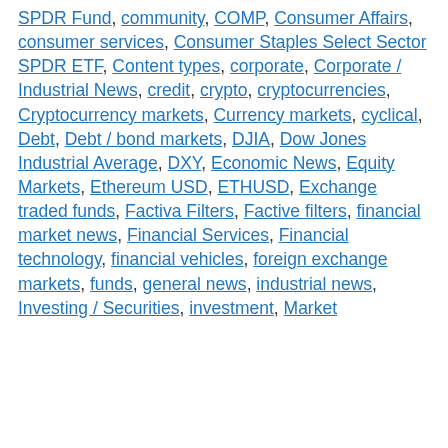SPDR Fund, community, COMP, Consumer Affairs, consumer services, Consumer Staples Select Sector SPDR ETF, Content types, corporate, Corporate / Industrial News, credit, crypto, cryptocurrencies, Cryptocurrency markets, Currency markets, cyclical, Debt, Debt / bond markets, DJIA, Dow Jones Industrial Average, DXY, Economic News, Equity Markets, Ethereum USD, ETHUSD, Exchange traded funds, Factiva Filters, Factive filters, financial market news, Financial Services, Financial technology, financial vehicles, foreign exchange markets, funds, general news, industrial news, Investing / Securities, investment, Market